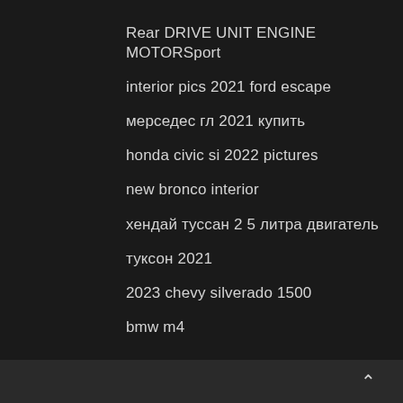Rear DRIVE UNIT ENGINE MOTORSport
interior pics 2021 ford escape
мерседес гл 2021 купить
honda civic si 2022 pictures
new bronco interior
хендай туссан 2 5 литра двигатель
туксон 2021
2023 chevy silverado 1500
bmw m4
^